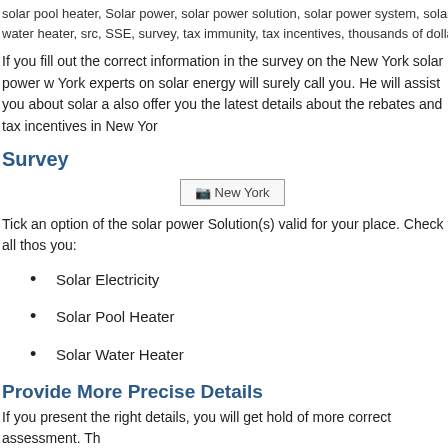solar pool heater, Solar power, solar power solution, solar power system, solar power system, water heater, src, SSE, survey, tax immunity, tax incentives, thousands of dollars, U.S., US,
If you fill out the correct information in the survey on the New York solar power w York experts on solar energy will surely call you. He will assist you about solar a also offer you the latest details about the rebates and tax incentives in New Yor
Survey
[Figure (photo): Image placeholder showing 'New York' with a small icon]
Tick an option of the solar power Solution(s) valid for your place. Check all thos you:
Solar Electricity
Solar Pool Heater
Solar Water Heater
Provide More Precise Details
If you present the right details, you will get hold of more correct assessment. Th